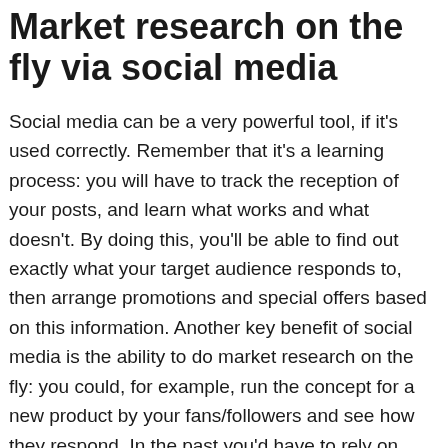Market research on the fly via social media
Social media can be a very powerful tool, if it's used correctly. Remember that it's a learning process: you will have to track the reception of your posts, and learn what works and what doesn't. By doing this, you'll be able to find out exactly what your target audience responds to, then arrange promotions and special offers based on this information. Another key benefit of social media is the ability to do market research on the fly: you could, for example, run the concept for a new product by your fans/followers and see how they respond. In the past you'd have to rely on data which is time-consuming to collect, now you can do it with a few clicks. And that's just for starters – as you go on with your social media efforts you'll learn how